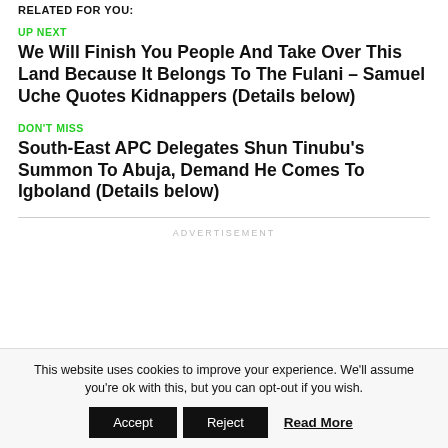RELATED FOR YOU:
UP NEXT
We Will Finish You People And Take Over This Land Because It Belongs To The Fulani – Samuel Uche Quotes Kidnappers (Details below)
DON'T MISS
South-East APC Delegates Shun Tinubu's Summon To Abuja, Demand He Comes To Igboland (Details below)
ADVERTISEMENT
This website uses cookies to improve your experience. We'll assume you're ok with this, but you can opt-out if you wish.
Accept  Reject  Read More